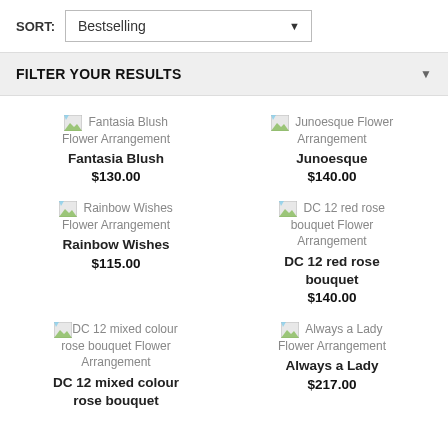SORT: Bestselling
FILTER YOUR RESULTS
Fantasia Blush Flower Arrangement
Fantasia Blush
$130.00
Junoesque Flower Arrangement
Junoesque
$140.00
Rainbow Wishes Flower Arrangement
Rainbow Wishes
$115.00
DC 12 red rose bouquet Flower Arrangement
DC 12 red rose bouquet
$140.00
DC 12 mixed colour rose bouquet Flower Arrangement
DC 12 mixed colour rose bouquet
Always a Lady Flower Arrangement
Always a Lady
$217.00